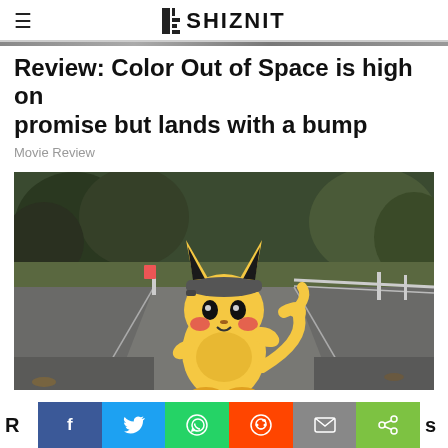THE SHIZNIT
Review: Color Out of Space is high on promise but lands with a bump
Movie Review
[Figure (photo): A CGI Pikachu character wearing a grey cap, sitting on an empty road with trees and a guardrail in the background. Scene from Detective Pikachu film.]
Re... s (share bar with social media buttons: Facebook, Twitter, WhatsApp, Reddit, Email, Share)